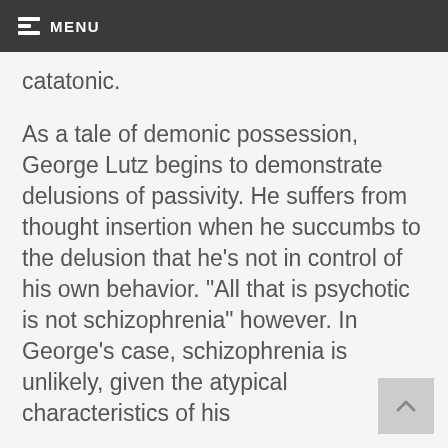MENU
catatonic.
As a tale of demonic possession, George Lutz begins to demonstrate delusions of passivity. He suffers from thought insertion when he succumbs to the delusion that he’s not in control of his own behavior. “All that is psychotic is not schizophrenia” however. In George’s case, schizophrenia is unlikely, given the atypical characteristics of his